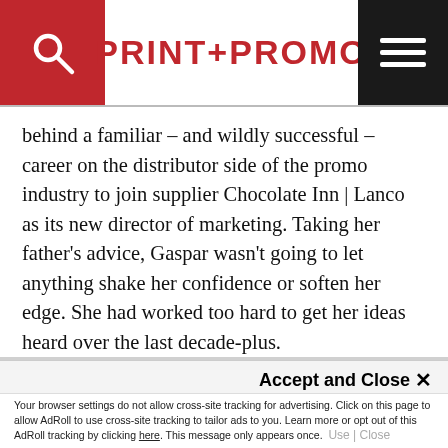PRINT+PROMO
behind a familiar – and wildly successful – career on the distributor side of the promo industry to join supplier Chocolate Inn | Lanco as its new director of marketing. Taking her father's advice, Gaspar wasn't going to let anything shake her confidence or soften her edge. She had worked too hard to get her ideas heard over the last decade-plus.
According to her nominator, Caspar spearheaded
This site uses cookies for tracking purposes. By continuing to browse our website, you agree to the storing of first- and third-party cookies on your device to enhance site navigation, analyze site usage, and assist in our marketing and
Accept and Close ✕
Your browser settings do not allow cross-site tracking for advertising. Click on this page to allow AdRoll to use cross-site tracking to tailor ads to you. Learn more or opt out of this AdRoll tracking by clicking here. This message only appears once. Use | Close